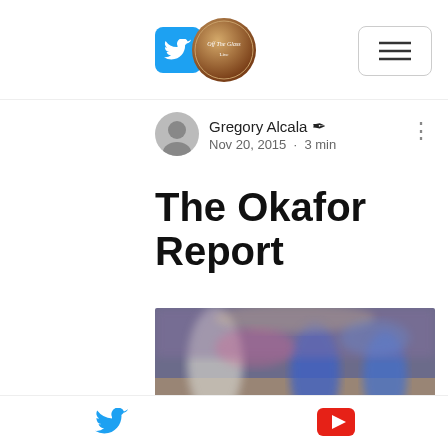Social icons (Twitter, Instagram), Off The Glass logo, menu button
Gregory Alcala ✒ Nov 20, 2015 · 3 min
The Okafor Report
[Figure (photo): Blurred basketball game photo showing players in blue uniforms on court with crowd in background]
Twitter icon and YouTube icon in footer